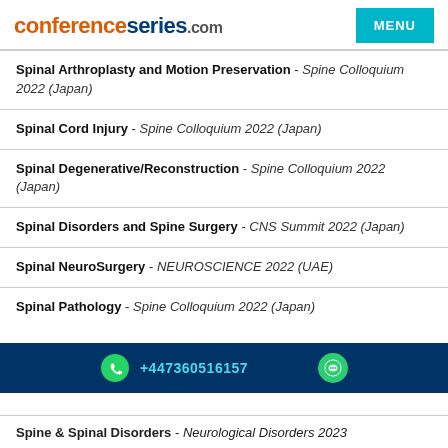conferenceseries.com | MENU
Spinal Arthroplasty and Motion Preservation - Spine Colloquium 2022 (Japan)
Spinal Cord Injury - Spine Colloquium 2022 (Japan)
Spinal Degenerative/Reconstruction - Spine Colloquium 2022 (Japan)
Spinal Disorders and Spine Surgery - CNS Summit 2022 (Japan)
Spinal NeuroSurgery - NEUROSCIENCE 2022 (UAE)
Spinal Pathology - Spine Colloquium 2022 (Japan)
+447360516157
Spine & Spinal Disorders - Neurological Disorders 2023